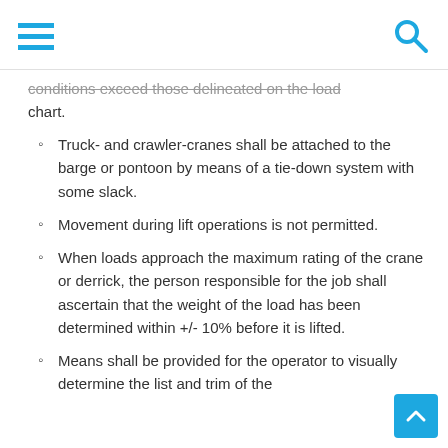[hamburger menu icon] [search icon]
conditions exceed those delineated on the load chart.
Truck- and crawler-cranes shall be attached to the barge or pontoon by means of a tie-down system with some slack.
Movement during lift operations is not permitted.
When loads approach the maximum rating of the crane or derrick, the person responsible for the job shall ascertain that the weight of the load has been determined within +/- 10% before it is lifted.
Means shall be provided for the operator to visually determine the list and trim of the